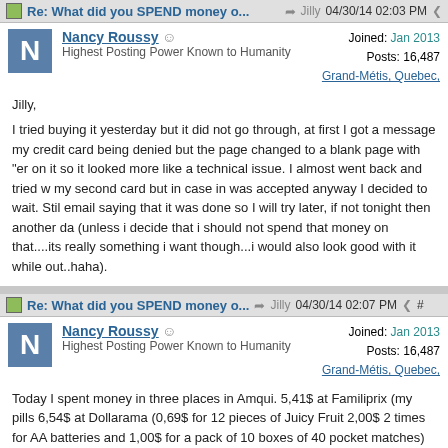Re: What did you SPEND money o... Jilly 04/30/14 02:03 PM
Nancy Roussy
Highest Posting Power Known to Humanity
Joined: Jan 2013
Posts: 16,487
Grand-Métis, Quebec,
Jilly,

I tried buying it yesterday but it did not go through, at first I got a message my credit card being denied but the page changed to a blank page with "er on it so it looked more like a technical issue. I almost went back and tried w my second card but in case in was accepted anyway I decided to wait. Stil email saying that it was done so I will try later, if not tonight then another da (unless i decide that i should not spend that money on that....its really something i want though...i would also look good with it while out..haha).
Re: What did you SPEND money o... Jilly 04/30/14 02:07 PM #
Nancy Roussy
Highest Posting Power Known to Humanity
Joined: Jan 2013
Posts: 16,487
Grand-Métis, Quebec,
Today I spent money in three places in Amqui. 5,41$ at Familiprix (my pills 6,54$ at Dollarama (0,69$ for 12 pieces of Juicy Fruit 2,00$ 2 times for AA batteries and 1,00$ for a pack of 10 boxes of 40 pocket matches) and 49,4 for waxing (arms & underarms & half legs).